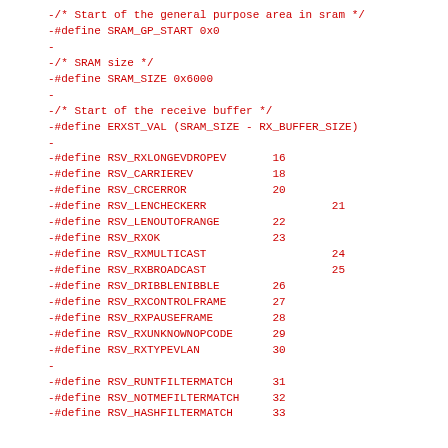-/* Start of the general purpose area in sram */
-#define SRAM_GP_START 0x0
-
-/* SRAM size */
-#define SRAM_SIZE 0x6000
-
-/* Start of the receive buffer */
-#define ERXST_VAL (SRAM_SIZE - RX_BUFFER_SIZE)
-
-#define RSV_RXLONGEVDROPEV       16
-#define RSV_CARRIEREV            18
-#define RSV_CRCERROR             20
-#define RSV_LENCHECKERR                   21
-#define RSV_LENOUTOFRANGE        22
-#define RSV_RXOK                 23
-#define RSV_RXMULTICAST                   24
-#define RSV_RXBROADCAST                   25
-#define RSV_DRIBBLENIBBLE        26
-#define RSV_RXCONTROLFRAME       27
-#define RSV_RXPAUSEFRAME         28
-#define RSV_RXUNKNOWNOPCODE      29
-#define RSV_RXTYPEVLAN           30
-
-#define RSV_RUNTFILTERMATCH      31
-#define RSV_NOTMEFILTERMATCH     32
-#define RSV_HASHFILTERMATCH      33